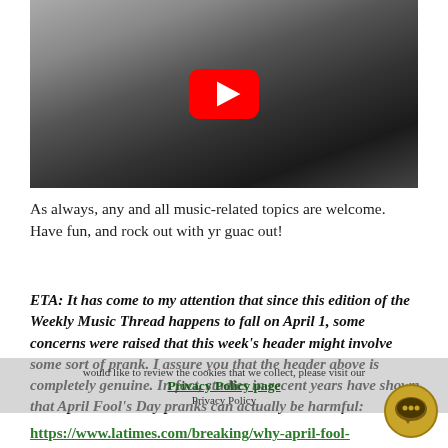[Figure (screenshot): Black and white YouTube video thumbnail showing a young man with curly hair in a patterned shirt near a microphone, with the YouTube play button overlay in the center.]
As always, any and all music-related topics are welcome. Have fun, and rock out with yr guac out!
ETA: It has come to my attention that since this edition of the Weekly Music Thread happens to fall on April 1, some concerns were raised that this week's header might involve some sort of prank. I assure you that the header above is completely genuine. In fact, studies in recent years have shown that April Fool's Day pranks can actually be harmful:
https://www.latimes.com/breaking/why-april-fool-